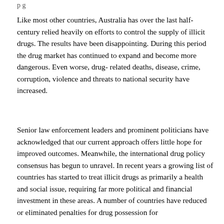p g
Like most other countries, Australia has over the last half-century relied heavily on efforts to control the supply of illicit drugs. The results have been disappointing. During this period the drug market has continued to expand and become more dangerous. Even worse, drug- related deaths, disease, crime, corruption, violence and threats to national security have increased.
Senior law enforcement leaders and prominent politicians have acknowledged that our current approach offers little hope for improved outcomes. Meanwhile, the international drug policy consensus has begun to unravel. In recent years a growing list of countries has started to treat illicit drugs as primarily a health and social issue, requiring far more political and financial investment in these areas. A number of countries have reduced or eliminated penalties for drug possession for